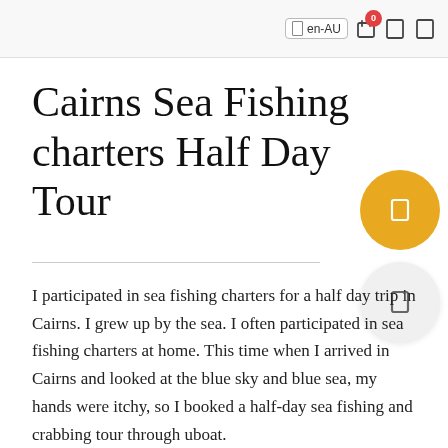en-AU 0
Cairns Sea Fishing charters Half Day Tour
I participated in sea fishing charters for a half day trip in Cairns. I grew up by the sea. I often participated in sea fishing charters at home. This time when I arrived in Cairns and looked at the blue sky and blue sea, my hands were itchy, so I booked a half-day sea fishing and crabbing tour through uboat.